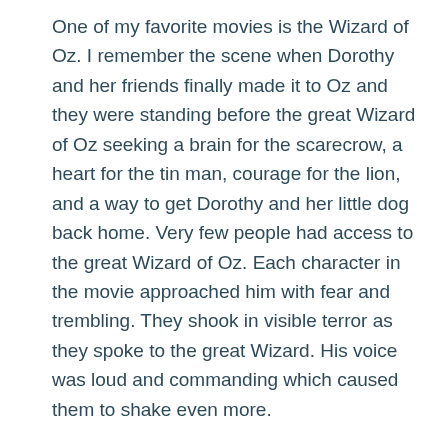One of my favorite movies is the Wizard of Oz. I remember the scene when Dorothy and her friends finally made it to Oz and they were standing before the great Wizard of Oz seeking a brain for the scarecrow, a heart for the tin man, courage for the lion, and a way to get Dorothy and her little dog back home. Very few people had access to the great Wizard of Oz. Each character in the movie approached him with fear and trembling. They shook in visible terror as they spoke to the great Wizard. His voice was loud and commanding which caused them to shake even more.
The writer of Hebrews is describing what is revealed in greater detail in Exodus 19 when Moses went up on Mount Sinai to receive the Word from God. God had commanded that not only would any person who touched Mount Sinai be put to death by stoning or shot with arrows, but He also commanded that any animal that